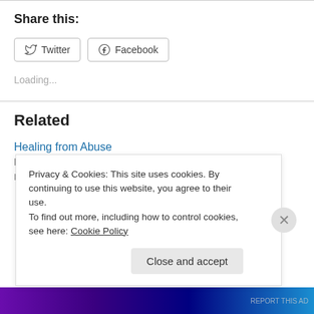Share this:
[Figure (other): Twitter and Facebook share buttons]
Loading...
Related
Healing from Abuse
February 15, 2015
Privacy & Cookies: This site uses cookies. By continuing to use this website, you agree to their use. To find out more, including how to control cookies, see here: Cookie Policy
Close and accept